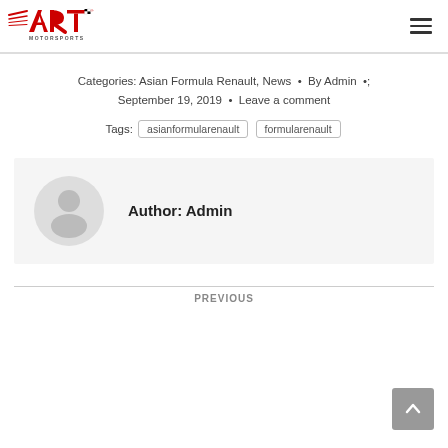ART Motorsports logo and navigation menu
Categories: Asian Formula Renault, News • By Admin • September 19, 2019 • Leave a comment
Tags: asianformularenault formularenault
[Figure (other): Author box with avatar placeholder icon and Author: Admin text]
PREVIOUS